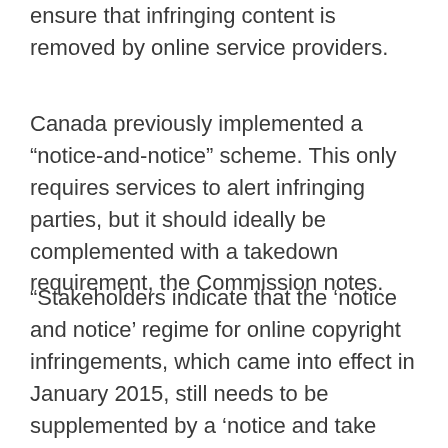ensure that infringing content is removed by online service providers.
Canada previously implemented a “notice-and-notice” scheme. This only requires services to alert infringing parties, but it should ideally be complemented with a takedown requirement, the Commission notes.
“Stakeholders indicate that the ‘notice and notice’ regime for online copyright infringements, which came into effect in January 2015, still needs to be supplemented by a ‘notice and take down’ requirement, as well as by other measures to